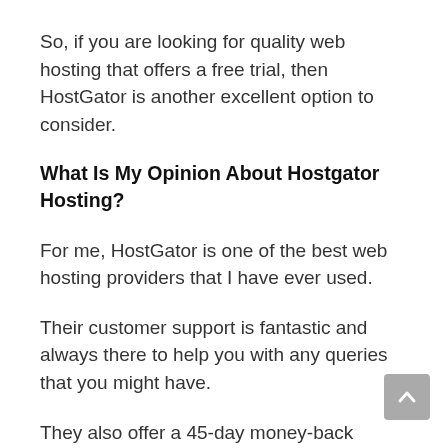So, if you are looking for quality web hosting that offers a free trial, then HostGator is another excellent option to consider.
What Is My Opinion About Hostgator Hosting?
For me, HostGator is one of the best web hosting providers that I have ever used.
Their customer support is fantastic and always there to help you with any queries that you might have.
They also offer a 45-day money-back guarantee if you are not satisfied with their